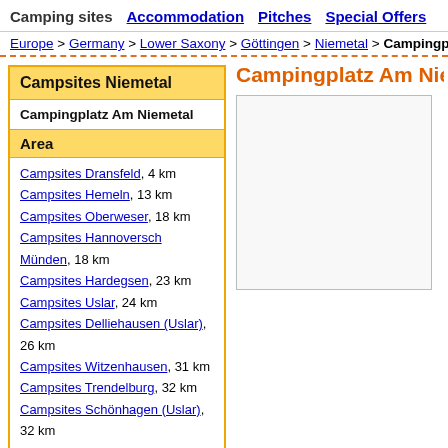Camping sites  Accommodation  Pitches  Special Offers
Europe > Germany > Lower Saxony > Göttingen > Niemetal > Campingplatz Am Niemetal
Campsites Niemetal
Campingplatz Am Niemetal
Area
Campsites Dransfeld, 4 km
Campsites Hemeln, 13 km
Campsites Oberweser, 18 km
Campsites Hannoversch Münden, 18 km
Campsites Hardegsen, 23 km
Campsites Uslar, 24 km
Campsites Delliehausen (Uslar), 26 km
Campsites Witzenhausen, 31 km
Campsites Trendelburg, 32 km
Campsites Schönhagen (Uslar), 32 km
Campingplatz Am Niemetal
Accommodation